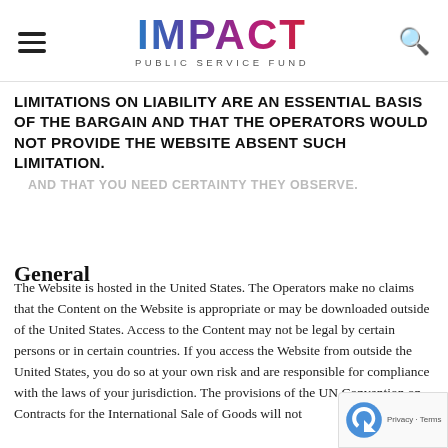IMPACT PUBLIC SERVICE FUND — navigation header with hamburger menu and search icon
AND THAT YOU NEED CERTAINTY THEY OBSERVE. LIMITATIONS ON LIABILITY ARE AN ESSENTIAL BASIS OF THE BARGAIN AND THAT THE OPERATORS WOULD NOT PROVIDE THE WEBSITE ABSENT SUCH LIMITATION.
General
The Website is hosted in the United States. The Operators make no claims that the Content on the Website is appropriate or may be downloaded outside of the United States. Access to the Content may not be legal by certain persons or in certain countries. If you access the Website from outside the United States, you do so at your own risk and are responsible for compliance with the laws of your jurisdiction. The provisions of the UN Convention on Contracts for the International Sale of Goods will not